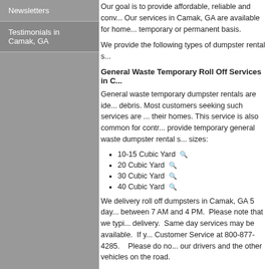Newsletters
Testimonials in Camak, GA
Our goal is to provide affordable, reliable and conv... Our services in Camak, GA are available for home... temporary or permanent basis.
We provide the following types of dumpster rental s...
General Waste Temporary Roll Off Services in C...
General waste temporary dumpster rentals are ide... debris. Most customers seeking such services are ... their homes. This service is also common for contr... provide temporary general waste dumpster rental s... sizes:
10-15 Cubic Yard
20 Cubic Yard
30 Cubic Yard
40 Cubic Yard
We delivery roll off dumpsters in Camak, GA 5 day... between 7 AM and 4 PM. Please note that we typi... delivery. Same day services may be available. If y... Customer Service at 800-877-4285. Please do no... our drivers and the other vehicles on the road.
General waste temporary services in Camak, GA a...